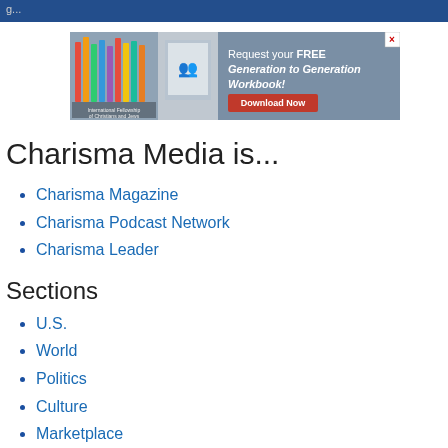g...
[Figure (infographic): Advertisement banner for International Fellowship of Christians and Jews promoting a free Generation to Generation Workbook with a Download Now button]
Charisma Media is...
Charisma Magazine
Charisma Podcast Network
Charisma Leader
Sections
U.S.
World
Politics
Culture
Marketplace
Opinion
Charisma Magazine Site
Subscribe to Charisma Magazine